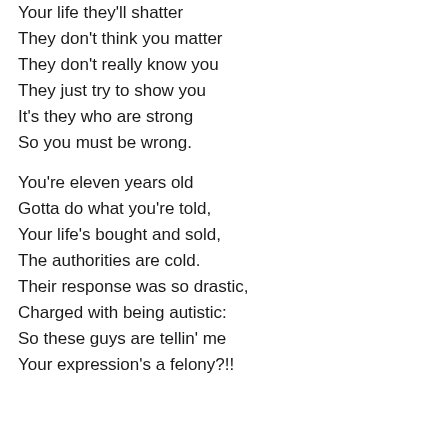…it's your life they're stealing.

Your life they'll shatter
They don't think you matter
They don't really know you
They just try to show you
It's they who are strong
So you must be wrong.

You're eleven years old
Gotta do what you're told,
Your life's bought and sold,
The authorities are cold.
Their response was so drastic,
Charged with being autistic:
So these guys are tellin' me
Your expression's a felony?!!